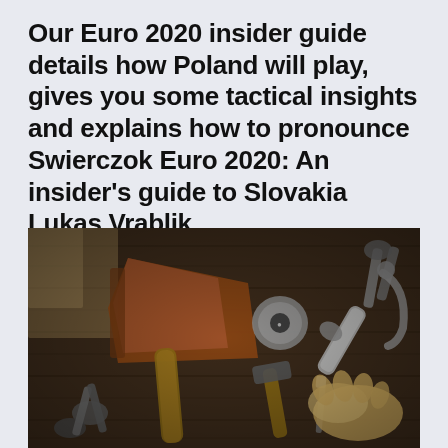Our Euro 2020 insider guide details how Poland will play, gives you some tactical insights and explains how to pronounce Swierczok Euro 2020: An insider's guide to Slovakia Lukas Vrablik
[Figure (photo): Overhead flat-lay photo of various hand tools arranged on a dark wooden surface, including an axe, hammer, scissors, screwdriver, pliers, tape measure, gloves, and other tools.]